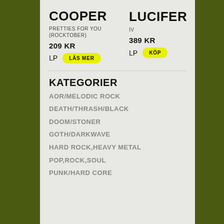COOPER
PRETTIES FOR YOU (ROCKTOBER)
LUCIFER
IV
209 KR
389 KR
LP
LÄS MER
LP
KÖP
KATEGORIER
AOR/MELODIC ROCK
DEATH/THRASH/BLACK
DOOM/STONER
GOTH/DARKWAVE
HARD ROCK,HEAVY METAL
POP,ROCK,SOUL
PUNK/HARD CORE